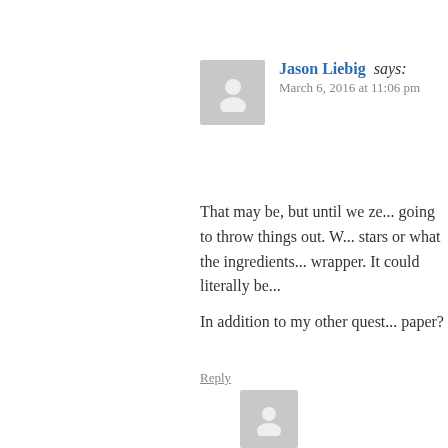[Figure (illustration): Gray avatar placeholder image for Jason Liebig]
Jason Liebig says:
March 6, 2016 at 11:06 pm
That may be, but until we ze... going to throw things out. W... stars or what the ingredients... wrapper. It could literally be...
In addition to my other quest... paper?
Reply
[Figure (illustration): Gray avatar placeholder image for Luposian]
Luposian says:
March 6, 2016 at 11:07 p...
It was definitely a p...
Reply